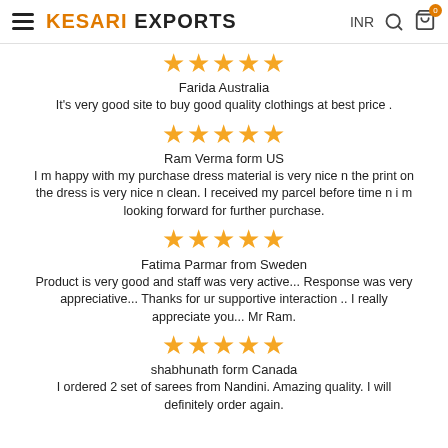KESARI EXPORTS   INR  0
★★★★★
Farida Australia
It's very good site to buy good quality clothings at best price .
★★★★★
Ram Verma form US
I m happy with my purchase dress material is very nice n the print on the dress is very nice n clean. I received my parcel before time n i m looking forward for further purchase.
★★★★★
Fatima Parmar from Sweden
Product is very good and staff was very active... Response was very appreciative... Thanks for ur supportive interaction .. I really appreciate you... Mr Ram.
★★★★★
shabhunath form Canada
I ordered 2 set of sarees from Nandini. Amazing quality. I will definitely order again.